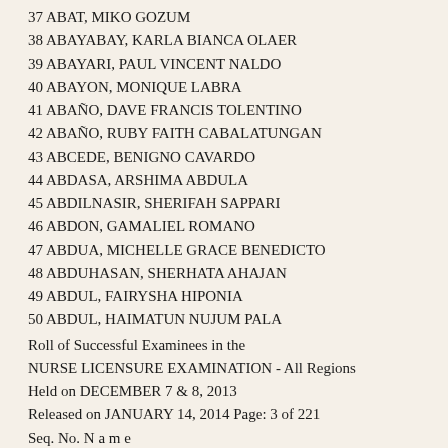37 ABAT, MIKO GOZUM
38 ABAYABAY, KARLA BIANCA OLAER
39 ABAYARI, PAUL VINCENT NALDO
40 ABAYON, MONIQUE LABRA
41 ABAÑO, DAVE FRANCIS TOLENTINO
42 ABAÑO, RUBY FAITH CABALATUNGAN
43 ABCEDE, BENIGNO CAVARDO
44 ABDASA, ARSHIMA ABDULA
45 ABDILNASIR, SHERIFAH SAPPARI
46 ABDON, GAMALIEL ROMANO
47 ABDUA, MICHELLE GRACE BENEDICTO
48 ABDUHASAN, SHERHATA AHAJAN
49 ABDUL, FAIRYSHA HIPONIA
50 ABDUL, HAIMATUN NUJUM PALA
Roll of Successful Examinees in the
NURSE LICENSURE EXAMINATION - All Regions
Held on DECEMBER 7 & 8, 2013
Released on JANUARY 14, 2014 Page: 3 of 221
Seq. No. N a m e
51 ABDUL MALIK, NORLAYLAH MIPANGA
52 ABDUL RAHIM, ABDUL MAHID MOHAMMAD
53 ABDULCADIR, JEFFARIL DACER